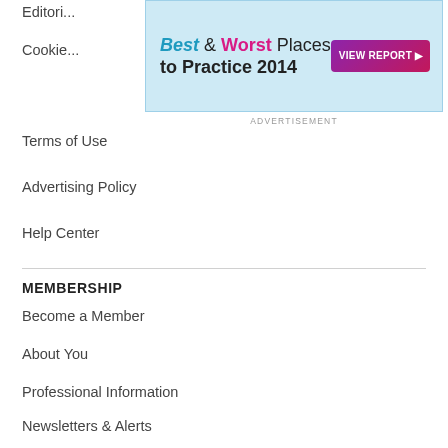Editori...
[Figure (infographic): Advertisement banner: Best & Worst Places to Practice 2014 with VIEW REPORT button]
ADVERTISEMENT
Cookie...
Terms of Use
Advertising Policy
Help Center
MEMBERSHIP
Become a Member
About You
Professional Information
Newsletters & Alerts
Market Research
APP
Medscape